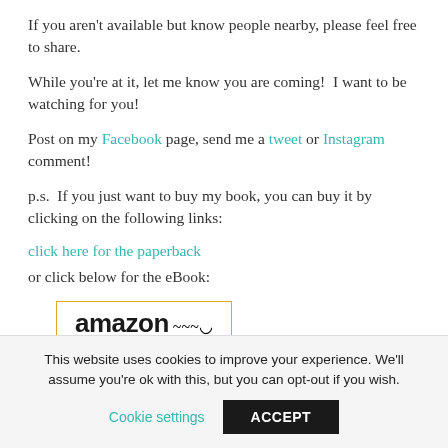If you aren't available but know people nearby, please feel free to share.
While you're at it, let me know you are coming!  I want to be watching for you!
Post on my Facebook page, send me a tweet or Instagram comment!
p.s.  If you just want to buy my book, you can buy it by clicking on the following links:
click here for the paperback
or click below for the eBook:
[Figure (logo): Amazon logo with orange smile underline in a bordered box]
This website uses cookies to improve your experience. We'll assume you're ok with this, but you can opt-out if you wish.
Cookie settings   ACCEPT